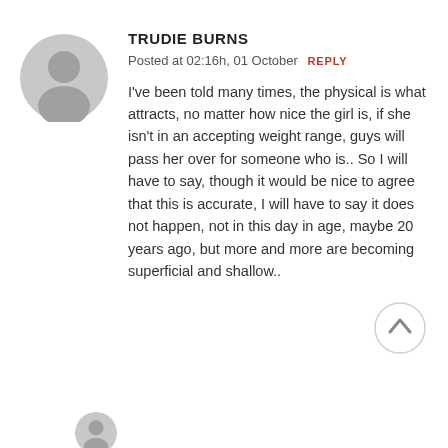[Figure (illustration): Grey circular avatar placeholder with a person silhouette icon]
TRUDIE BURNS
Posted at 02:16h, 01 October  REPLY
I've been told many times, the physical is what attracts, no matter how nice the girl is, if she isn't in an accepting weight range, guys will pass her over for someone who is.. So I will have to say, though it would be nice to agree that this is accurate, I will have to say it does not happen, not in this day in age, maybe 20 years ago, but more and more are becoming superficial and shallow..
[Figure (illustration): Grey circular scroll-to-top button with upward arrow]
[Figure (illustration): Partial grey circular avatar at bottom of page]